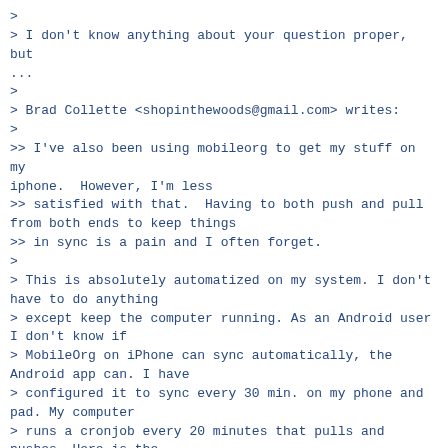>
> I don't know anything about your question proper, but
...
>
> Brad Collette <shopinthewoods@gmail.com> writes:
>
>> I've also been using mobileorg to get my stuff on my
iphone.  However, I'm less
>> satisfied with that.  Having to both push and pull
from both ends to keep things
>> in sync is a pain and I often forget.
>
> This is absolutely automatized on my system. I don't
have to do anything
> except keep the computer running. As an Android user
I don't know if
> MobileOrg on iPhone can sync automatically, the
Android app can. I have
> configured it to sync every 30 min. on my phone and
pad. My computer
> runs a cronjob every 20 minutes that pulls and
pushes. Here is the
> script that does the job:
>
> #!/bin/bash
>
> emacs --batch --load ~/.emacs --eval "(gtd)" --eval "
(org-mobile-pull)" --eval "(org-save-all-org-buffers)"
--eval "(org-mobile-push)"
>